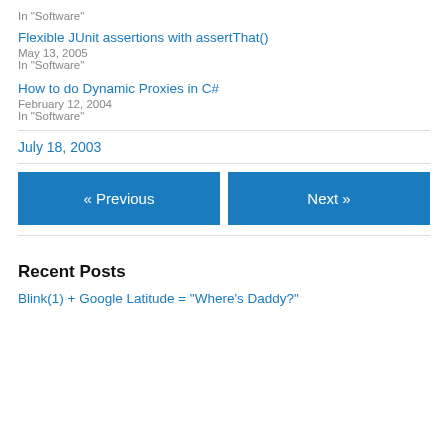In "Software"
Flexible JUnit assertions with assertThat()
May 13, 2005
In "Software"
How to do Dynamic Proxies in C#
February 12, 2004
In "Software"
July 18, 2003
« Previous
Next »
Recent Posts
Blink(1) + Google Latitude = "Where's Daddy?"